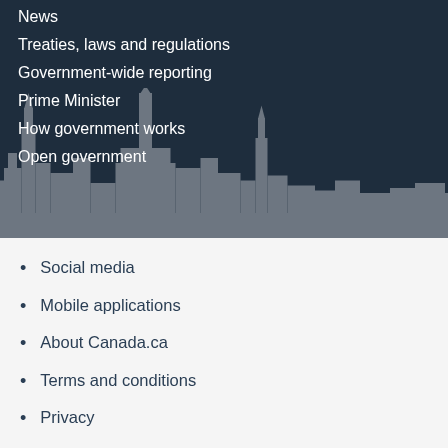News
Treaties, laws and regulations
Government-wide reporting
Prime Minister
How government works
Open government
Social media
Mobile applications
About Canada.ca
Terms and conditions
Privacy